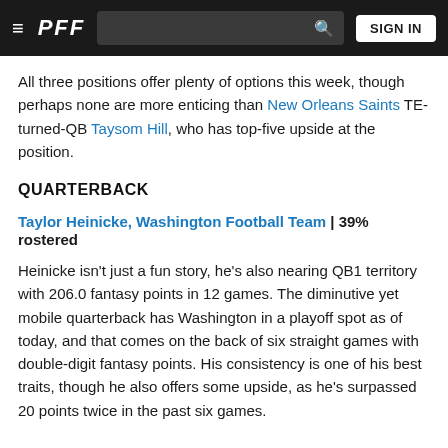PFF | SIGN IN
All three positions offer plenty of options this week, though perhaps none are more enticing than New Orleans Saints TE-turned-QB Taysom Hill, who has top-five upside at the position.
QUARTERBACK
Taylor Heinicke, Washington Football Team | 39% rostered
Heinicke isn't just a fun story, he's also nearing QB1 territory with 206.0 fantasy points in 12 games. The diminutive yet mobile quarterback has Washington in a playoff spot as of today, and that comes on the back of six straight games with double-digit fantasy points. His consistency is one of his best traits, though he also offers some upside, as he's surpassed 20 points twice in the past six games.